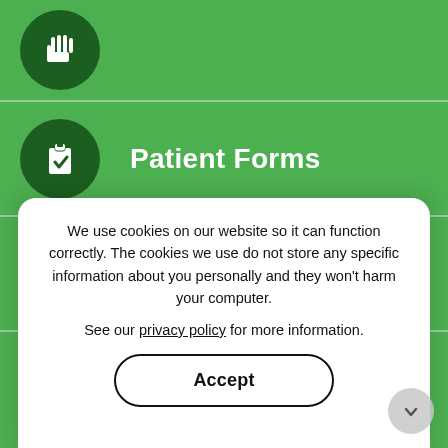First Visit Guide
Patient Forms
Pre/Postop Info
Insurance Info
We use cookies on our website so it can function correctly. The cookies we use do not store any specific information about you personally and they won’t harm your computer.
See our privacy policy for more information.
Accept